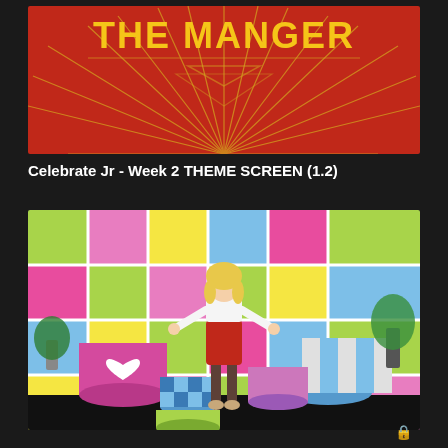[Figure (screenshot): Red background with golden yellow bold text 'THE MANGER' at top and radiating sunburst lines pattern below the text, with triangular chevron shape in center]
Celebrate Jr - Week 2 THEME SCREEN (1.2)
[Figure (photo): Blonde woman in white top and red skirt with gold boots standing in front of colorful grid wall with pink, yellow, green, blue, and purple squares. Decorative painted canisters/drums are arranged around her on the floor. Plants visible on sides.]